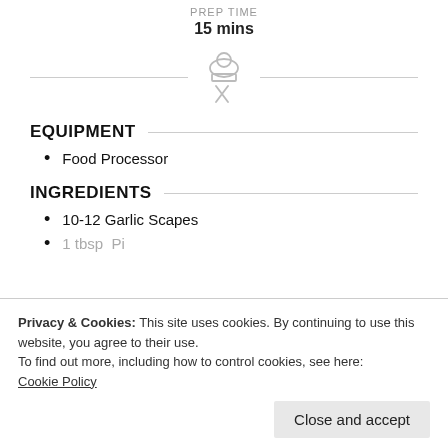PREP TIME
15 mins
[Figure (illustration): Chef hat and crossed utensils icon (gray outline), centered between two horizontal divider lines]
EQUIPMENT
Food Processor
INGREDIENTS
10-12 Garlic Scapes
Privacy & Cookies: This site uses cookies. By continuing to use this website, you agree to their use.
To find out more, including how to control cookies, see here:
Cookie Policy
Close and accept